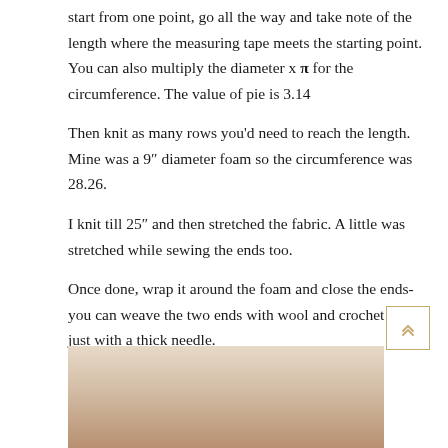start from one point, go all the way and take note of the length where the measuring tape meets the starting point. You can also multiply the diameter x π for the circumference. The value of pie is 3.14
Then knit as many rows you'd need to reach the length. Mine was a 9" diameter foam so the circumference was 28.26.
I knit till 25" and then stretched the fabric. A little was stretched while sewing the ends too.
Once done, wrap it around the foam and close the ends- you can weave the two ends with wool and crochet or just with a thick needle.
[Figure (photo): Partial view of a knitted item or craft project photo at the bottom of the page]